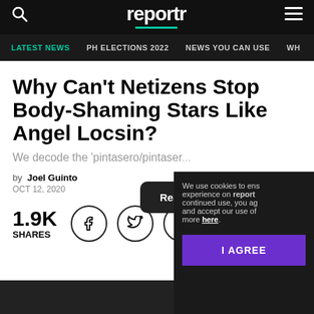reportr
LATEST NEWS | PH ELECTIONS 2022 | NEWS YOU CAN USE | WH...
Why Can't Netizens Stop Body-Shaming Stars Like Angel Locsin?
We decode the 'pintasero/pintaser...
by Joel Guinto
OCT 12, 2020
1.9K SHARES
We use cookies to ensure experience on reportr continued use, you agree and accept our use of more here. I AGREE